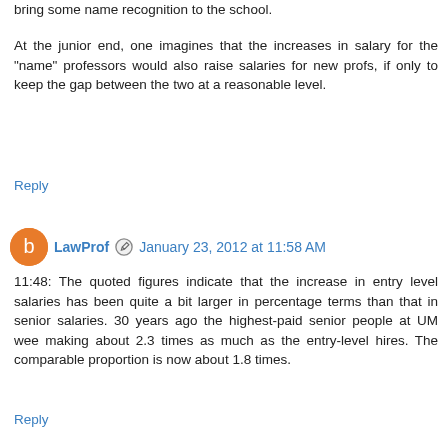bring some name recognition to the school.
At the junior end, one imagines that the increases in salary for the "name" professors would also raise salaries for new profs, if only to keep the gap between the two at a reasonable level.
Reply
LawProf  January 23, 2012 at 11:58 AM
11:48: The quoted figures indicate that the increase in entry level salaries has been quite a bit larger in percentage terms than that in senior salaries. 30 years ago the highest-paid senior people at UM wee making about 2.3 times as much as the entry-level hires. The comparable proportion is now about 1.8 times.
Reply
Anonymous  January 23, 2012 at 12:04 PM
One reason why medical and dental schools charge so